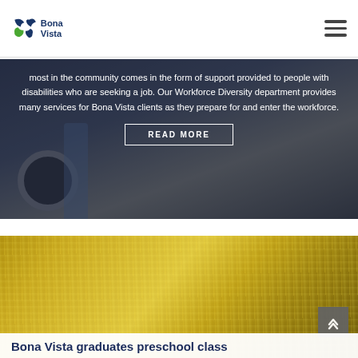[Figure (logo): Bona Vista logo with icon (puzzle/leaf design) and text 'Bona Vista' in dark navy blue]
[Figure (photo): Person standing next to a large truck, with overlaid text about Workforce Diversity services for people with disabilities]
most in the community comes in the form of support provided to people with disabilities who are seeking a job. Our Workforce Diversity department provides many services for Bona Vista clients as they prepare for and enter the workforce.
READ MORE
[Figure (photo): Gold/yellow tinsel or decorative background, partial view]
Bona Vista graduates preschool class